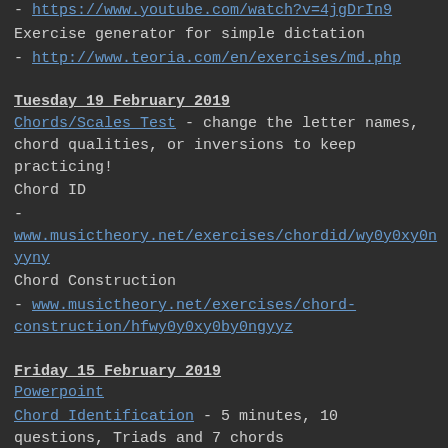- https://www.youtube.com/watch?v=4jgDrIn9
Exercise generator for simple dictation
- http://www.teoria.com/en/exercises/md.php
Tuesday 19 February 2019
Chords/Scales Test - change the letter names, chord qualities, or inversions to keep practicing!
Chord ID
- www.musictheory.net/exercises/chordid/wy0y0xy0n yny
Chord Construction
- www.musictheory.net/exercises/chord-construction/hfwy0y0xy0by0ngyyz
Friday 15 February 2019
Powerpoint
Chord Identification - 5 minutes, 10 questions, Triads and 7 chords
Chord Construction - 5 minutes, 10 questions, Triads and 7 chords